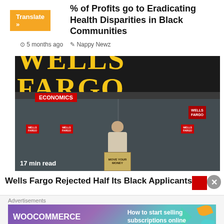% of Profits go to Eradicating Health Disparities in Black Communities
5 months ago  Nappy Newz
[Figure (photo): Wells Fargo storefront with a protester holding a sign reading 'MOVE YOUR MONEY'. ECONOMICS badge overlay. '17 min read' text on image.]
Wells Fargo Rejected Half Its Black Applicants
Advertisements
[Figure (other): WooCommerce advertisement banner: 'How to start selling subscriptions online']